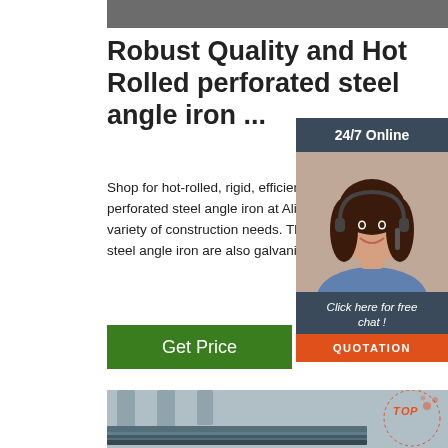[Figure (photo): Top banner photo of steel/industrial materials, partially visible]
Robust Quality and Hot Rolled perforated steel angle iron ...
Shop for hot-rolled, rigid, efficient, and durable perforated steel angle iron at Alibaba.com for a variety of construction needs. These perforated steel angle iron are also galvanized.
[Figure (photo): Customer service representative woman with headset, 24/7 Online chat panel with QUOTATION button]
[Figure (photo): Click here for free chat! QUOTATION button]
[Figure (photo): Bottom photo of steel angle iron bars stacked, with TOP badge overlay]